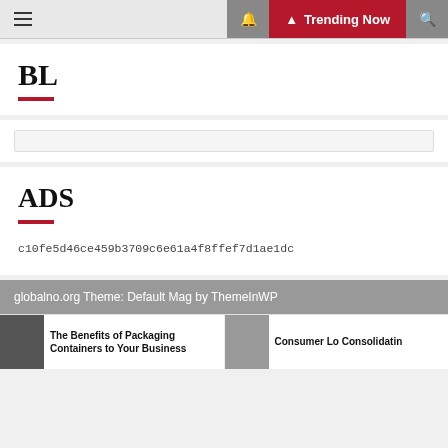BL — Trending Now
BL
[Figure (other): Empty search input bar]
ADS
c10fe5d46ce459b3709c6e61a4f8ffef7d1ae1dc
globalno.org Theme: Default Mag by ThemeInWP
The Benefits of Packaging Containers to Your Business
Consumer Lo Consolidatin